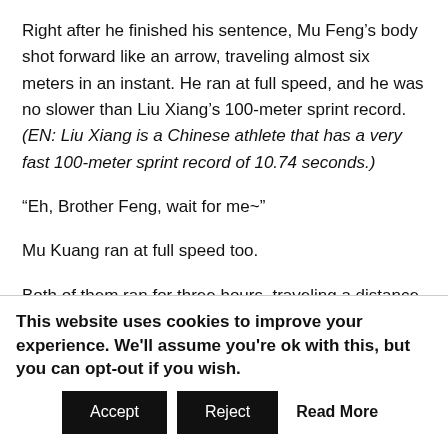Right after he finished his sentence, Mu Feng’s body shot forward like an arrow, traveling almost six meters in an instant. He ran at full speed, and he was no slower than Liu Xiang’s 100-meter sprint record. (EN: Liu Xiang is a Chinese athlete that has a very fast 100-meter sprint record of 10.74 seconds.)
“Eh, Brother Feng, wait for me~”
Mu Kuang ran at full speed too.
Both of them ran for three hours, traveling a distance of 150 kilometers. When they arrived at An Nan city, Mu Kuang’s legs felt like jelly, and he collapsed on the ground. Mu Feng had no choice but to carry Mu Kuang back home on his back. It was common for Mu Feng to run more than 50 kilometers at a time back when he was in the army.
This website uses cookies to improve your experience. We'll assume you're ok with this, but you can opt-out if you wish.